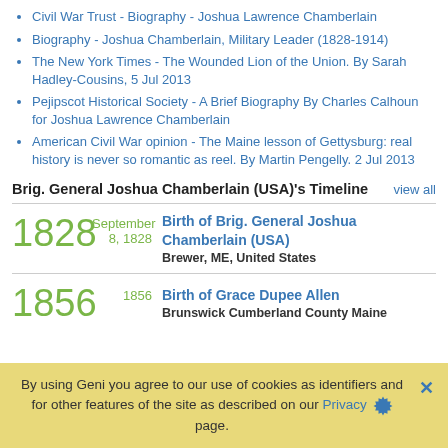Civil War Trust - Biography - Joshua Lawrence Chamberlain
Biography - Joshua Chamberlain, Military Leader (1828-1914)
The New York Times - The Wounded Lion of the Union. By Sarah Hadley-Cousins, 5 Jul 2013
Pejipscot Historical Society - A Brief Biography By Charles Calhoun for Joshua Lawrence Chamberlain
American Civil War opinion - The Maine lesson of Gettysburg: real history is never so romantic as reel. By Martin Pengelly. 2 Jul 2013
Brig. General Joshua Chamberlain (USA)'s Timeline
view all
1828  September 8, 1828  Birth of Brig. General Joshua Chamberlain (USA)  Brewer, ME, United States
1856  1856  Birth of Grace Dupee Allen  Brunswick Cumberland County Maine
By using Geni you agree to our use of cookies as identifiers and for other features of the site as described on our Privacy page.